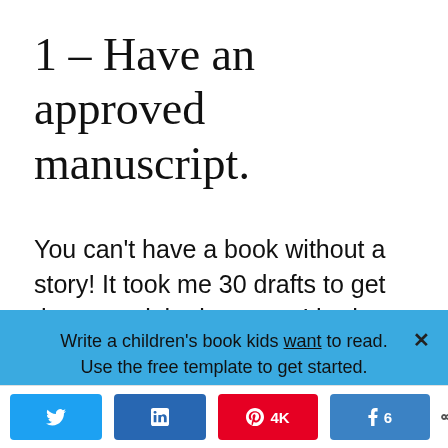1 – Have an approved manuscript.
You can't have a book without a story! It took me 30 drafts to get the story right, but once I had an approved version, I was
Write a children's book kids want to read. Use the free template to get started.
Name
Email
Twitter | LinkedIn | Pinterest 4K | Facebook 6 | Share 4K SHARES